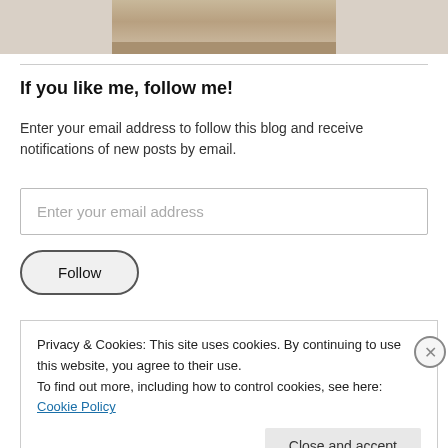[Figure (photo): Partial photo of food items (appears to be pastry or baked goods) on a surface, cropped at top of page]
If you like me, follow me!
Enter your email address to follow this blog and receive notifications of new posts by email.
Enter your email address
Follow
Privacy & Cookies: This site uses cookies. By continuing to use this website, you agree to their use.
To find out more, including how to control cookies, see here: Cookie Policy
Close and accept